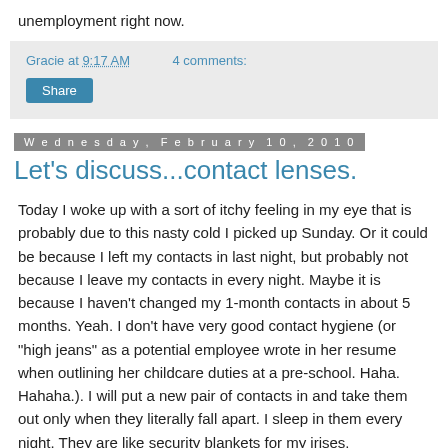unemployment right now.
Gracie at 9:17 AM    4 comments:
Share
Wednesday, February 10, 2010
Let's discuss...contact lenses.
Today I woke up with a sort of itchy feeling in my eye that is probably due to this nasty cold I picked up Sunday. Or it could be because I left my contacts in last night, but probably not because I leave my contacts in every night. Maybe it is because I haven't changed my 1-month contacts in about 5 months. Yeah. I don't have very good contact hygiene (or "high jeans" as a potential employee wrote in her resume when outlining her childcare duties at a pre-school. Haha. Hahaha.). I will put a new pair of contacts in and take them out only when they literally fall apart. I sleep in them every night. They are like security blankets for my irises.
I was sort of surprised to discover that not everyone does